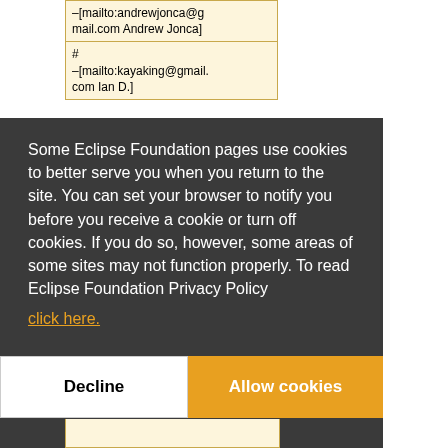| –[mailto:andrewjonca@gmail.com Andrew Jonca] |
| #
–[mailto:kayaking@gmail.com Ian D.] |
Some Eclipse Foundation pages use cookies to better serve you when you return to the site. You can set your browser to notify you before you receive a cookie or turn off cookies. If you do so, however, some areas of some sites may not function properly. To read Eclipse Foundation Privacy Policy click here.